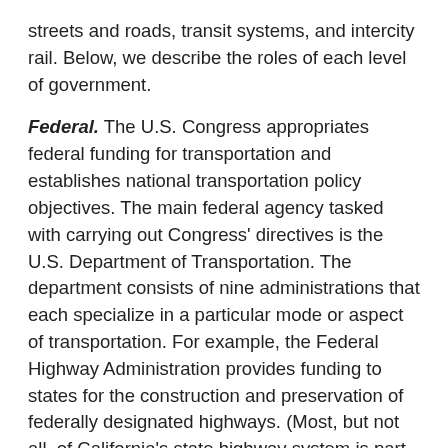streets and roads, transit systems, and intercity rail. Below, we describe the roles of each level of government.
Federal. The U.S. Congress appropriates federal funding for transportation and establishes national transportation policy objectives. The main federal agency tasked with carrying out Congress' directives is the U.S. Department of Transportation. The department consists of nine administrations that each specialize in a particular mode or aspect of transportation. For example, the Federal Highway Administration provides funding to states for the construction and preservation of federally designated highways. (Most, but not all, of California's state highway system is part of the federal highway system.) Other administrations perform similar functions for transit, railroads, aviation, and maritime activities.